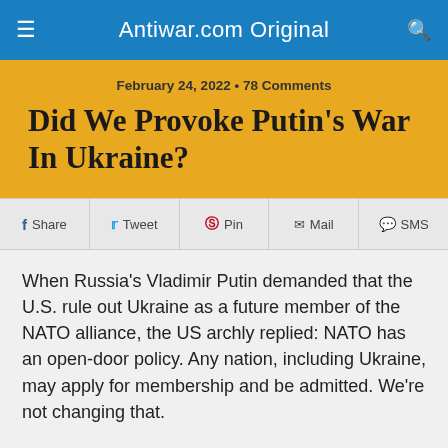Antiwar.com Original
February 24, 2022 • 78 Comments
Did We Provoke Putin's War In Ukraine?
Share  Tweet  Pin  Mail  SMS
When Russia's Vladimir Putin demanded that the U.S. rule out Ukraine as a future member of the NATO alliance, the US archly replied: NATO has an open-door policy. Any nation, including Ukraine, may apply for membership and be admitted. We're not changing that.